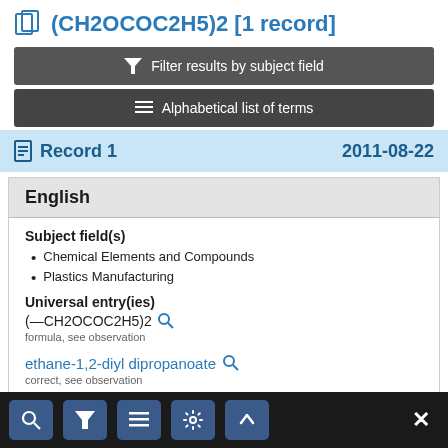(CH2OCOC2H5)2 [1 record]
Filter results by subject field
Alphabetical list of terms
Record 1   2011-08-22
English
Subject field(s)
Chemical Elements and Compounds
Plastics Manufacturing
Universal entry(ies)
(—CH2OCOC2H5)2
formula, see observation
ethane-1,2-diyl dipropanoate
correct, see observation